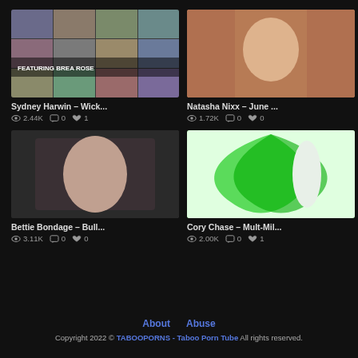[Figure (screenshot): Video thumbnail for Sydney Harwin – Wick... with text overlay FEATURING BREA ROSE]
[Figure (screenshot): Video thumbnail for Natasha Nixx – June ...]
Sydney Harwin – Wick...
👁 2.44K 💬 0 ❤ 1
Natasha Nixx – June ...
👁 1.72K 💬 0 ❤ 0
[Figure (screenshot): Video thumbnail for Bettie Bondage – Bull...]
[Figure (screenshot): Video thumbnail for Cory Chase – Mult-Mil...]
Bettie Bondage – Bull...
👁 3.11K 💬 0 ❤ 0
Cory Chase – Mult-Mil...
👁 2.00K 💬 0 ❤ 1
About  Abuse  Copyright 2022 © TABOOPORNS - Taboo Porn Tube All rights reserved.